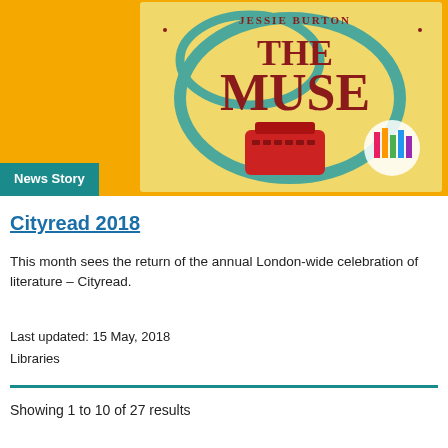[Figure (illustration): Book cover of 'The Muse' by Jessie Burton with orange background, teal decorative swirls, and a red typewriter. A 'News Story' badge overlays lower left.]
Cityread 2018
This month sees the return of the annual London-wide celebration of literature – Cityread.
Last updated: 15 May, 2018
Libraries
Showing 1 to 10 of 27 results